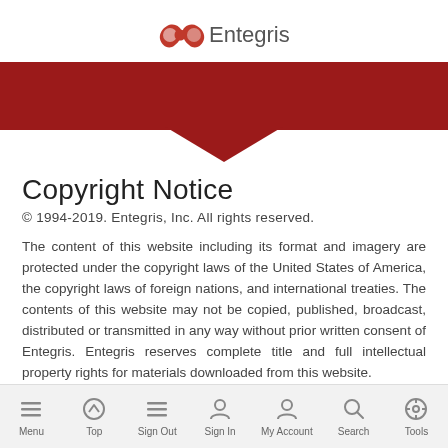[Figure (logo): Entegris logo with red infinity-like symbol and grey text 'Entegris']
[Figure (illustration): Dark red horizontal banner with downward-pointing chevron/arrow shape at the bottom center]
Copyright Notice
© 1994-2019. Entegris, Inc. All rights reserved.
The content of this website including its format and imagery are protected under the copyright laws of the United States of America, the copyright laws of foreign nations, and international treaties. The contents of this website may not be copied, published, broadcast, distributed or transmitted in any way without prior written consent of Entegris. Entegris reserves complete title and full intellectual property rights for materials downloaded from this website.
Menu  Top  Sign Out  Sign In  My Account  Search  Tools